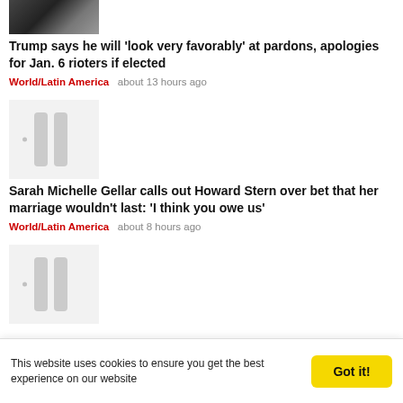[Figure (photo): Partially visible thumbnail photo at top, appears to show a person with a flag or banner background]
Trump says he will 'look very favorably' at pardons, apologies for Jan. 6 rioters if elected
World/Latin America   about 13 hours ago
[Figure (photo): Blurred/redacted thumbnail image with vertical blur lines]
Sarah Michelle Gellar calls out Howard Stern over bet that her marriage wouldn't last: 'I think you owe us'
World/Latin America   about 8 hours ago
[Figure (photo): Blurred/redacted thumbnail image with vertical blur lines]
This website uses cookies to ensure you get the best experience on our website